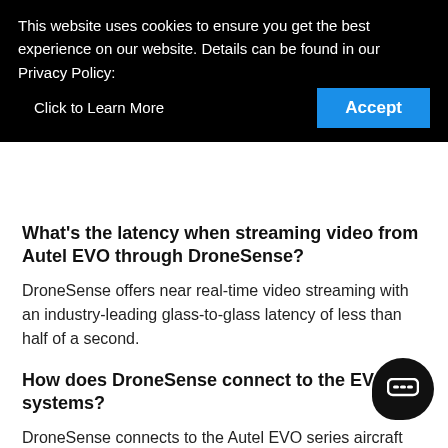This website uses cookies to ensure you get the best experience on our website. Details can be found in our Privacy Policy:    Click to Learn More   Accept
What's the latency when streaming video from Autel EVO through DroneSense?
DroneSense offers near real-time video streaming with an industry-leading glass-to-glass latency of less than half of a second.
How does DroneSense connect to the EVO systems?
DroneSense connects to the Autel EVO series aircraft through Autel's SDK.
How do you ensure data security?
The Autel EVO line of aircraft is designed for public safety's